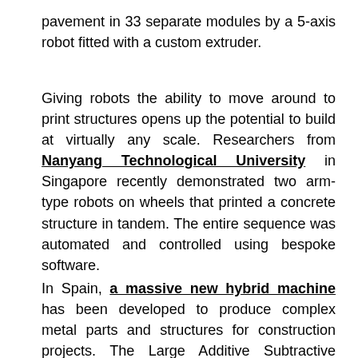pavement in 33 separate modules by a 5-axis robot fitted with a custom extruder.
Giving robots the ability to move around to print structures opens up the potential to build at virtually any scale. Researchers from Nanyang Technological University in Singapore recently demonstrated two arm-type robots on wheels that printed a concrete structure in tandem. The entire sequence was automated and controlled using bespoke software.
In Spain, a massive new hybrid machine has been developed to produce complex metal parts and structures for construction projects. The Large Additive Subtractive Integrated Modular Machine (LASIMM) was funded under the EU's Horizon 2020